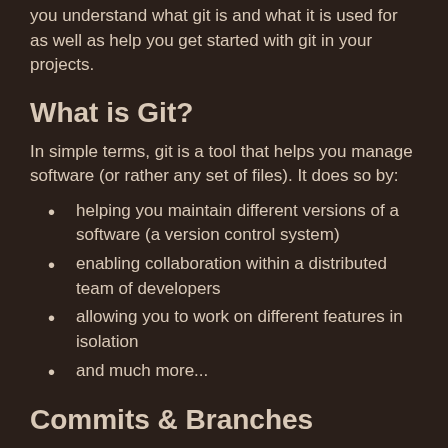you understand what git is and what it is used for as well as help you get started with git in your projects.
What is Git?
In simple terms, git is a tool that helps you manage software (or rather any set of files). It does so by:
helping you maintain different versions of a software (a version control system)
enabling collaboration within a distributed team of developers
allowing you to work on different features in isolation
and much more...
Commits & Branches
It has a "commit" system wherein you wrap a set of changes in a single unit which is known as a commit